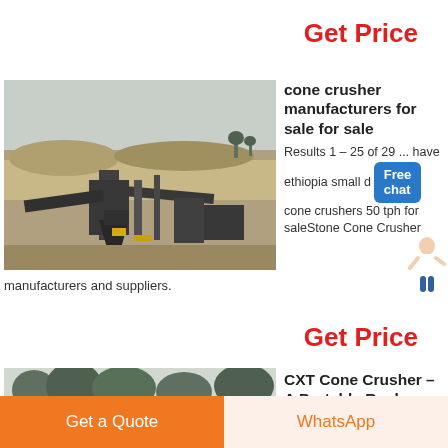Get Price
[Figure (photo): Outdoor industrial quarry/mining site with cone crusher and conveyor belts, dry landscape]
cone crusher manufacturers for sale for sale
Results 1 – 25 of 29 ... have ethiopia small cone crushers 50 tph for saleStone Cone Crusher manufacturers and suppliers.
Get Price
[Figure (photo): Outdoor mining/quarry site with trees and machinery in misty setting]
CXT Cone Crusher – A Portable Rock
Get a Quote
WhatsApp